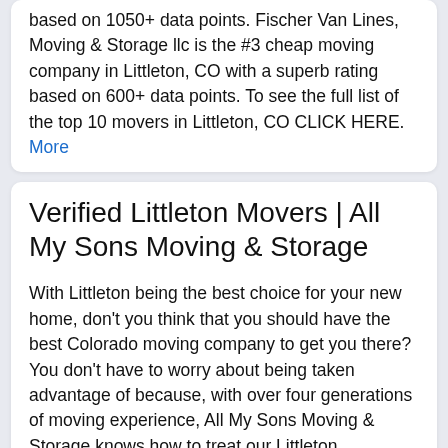based on 1050+ data points. Fischer Van Lines, Moving & Storage llc is the #3 cheap moving company in Littleton, CO with a superb rating based on 600+ data points. To see the full list of the top 10 movers in Littleton, CO CLICK HERE. More
Verified Littleton Movers | All My Sons Moving & Storage
With Littleton being the best choice for your new home, don't you think that you should have the best Colorado moving company to get you there? You don't have to worry about being taken advantage of because, with over four generations of moving experience, All My Sons Moving & Storage knows how to treat our Littleton customers with old … More